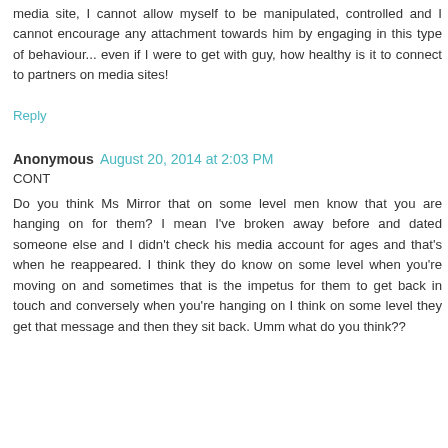media site, I cannot allow myself to be manipulated, controlled and I cannot encourage any attachment towards him by engaging in this type of behaviour... even if I were to get with guy, how healthy is it to connect to partners on media sites!
Reply
Anonymous August 20, 2014 at 2:03 PM
CONT
Do you think Ms Mirror that on some level men know that you are hanging on for them? I mean I've broken away before and dated someone else and I didn't check his media account for ages and that's when he reappeared. I think they do know on some level when you're moving on and sometimes that is the impetus for them to get back in touch and conversely when you're hanging on I think on some level they get that message and then they sit back. Umm what do you think??